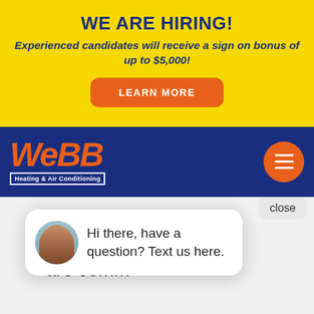WE ARE HIRING!
Experienced candidates will receive a sign on bonus of up to $5,000!
LEARN MORE
[Figure (logo): Webb Heating & Air Conditioning logo with orange text on blue background]
[Figure (other): Orange hamburger menu button circle on blue navigation bar]
close
[Figure (other): Chat popup with woman avatar and text: Hi there, have a question? Text us here.]
At Webb Heating & Air Conditioning, we are committed to providing reliable and economical services. We appreciate the opportunity to serve you. Over the years, our HVAC company has become one of the largest service organizations in the region, with over 75